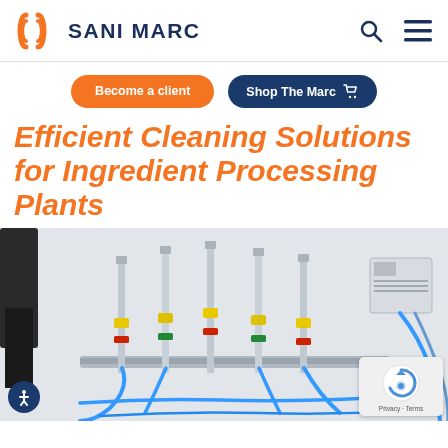SANI MARC
Become a client | Shop The Marc
Efficient Cleaning Solutions for Ingredient Processing Plants
[Figure (photo): Industrial cleaning equipment — vertical pipes/probes mounted on a wall bracket, with color-coded connectors (yellow, green, red) and blue hoses, in a food processing plant environment.]